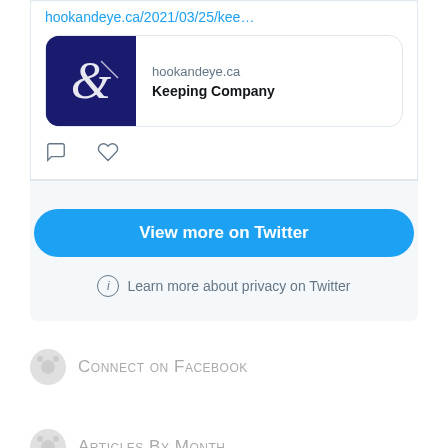hookandeye.ca/2021/03/25/kee…
[Figure (screenshot): Link preview card showing hookandeye.ca logo (dark blue background with white ampersand/hook design) on left, with domain 'hookandeye.ca' and title 'Keeping Company' on right]
[Figure (other): Tweet action icons: comment bubble and heart/like icon]
View more on Twitter
Learn more about privacy on Twitter
Connect on Facebook
Articles By Month